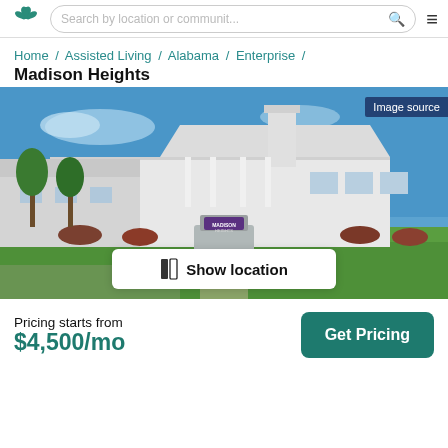Search by location or communit...
Home / Assisted Living / Alabama / Enterprise / Madison Heights
Madison Heights
[Figure (photo): Exterior photo of Madison Heights assisted living facility showing a white single-story building with green lawn and a stone entrance sign reading 'Madison Heights'. Blue sky background.]
Pricing starts from $4,500/mo
Get Pricing